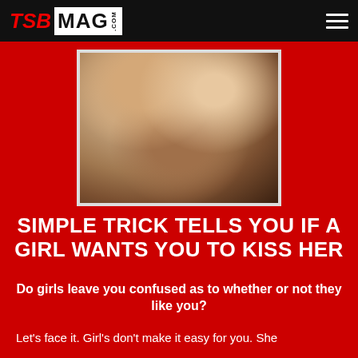TSB MAG .COM
[Figure (photo): Close-up photo of a man and woman about to kiss, faces close together, warm toned lighting]
SIMPLE TRICK TELLS YOU IF A GIRL WANTS YOU TO KISS HER
Do girls leave you confused as to whether or not they like you?
Let's face it. Girl's don't make it easy for you. She